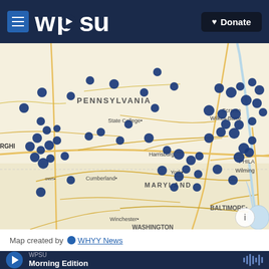WPSU — Donate
[Figure (map): Interactive map of Pennsylvania and surrounding states (Maryland, New Jersey, Delaware, West Virginia) showing WPSU radio transmission coverage with blue dot markers scattered across Pennsylvania, concentrated around Pittsburgh area in the west, Philadelphia area in the east, and points throughout central PA including State College, Harrisburg, York. Cities labeled include Scranton, Wilkes-Barre, PENNSYLVANIA, State College, RGHBURG (Pittsburgh), Harrisburg, York, PHILA (Philadelphia), Wilming (Wilmington), Cumberland, MARYLAND, BALTIMORE, Winchester, WASHINGTON DC. Map has a cream/tan road map background with roads in gold/orange. Info button in bottom right corner.]
Map created by WHYY News
WPSU Morning Edition